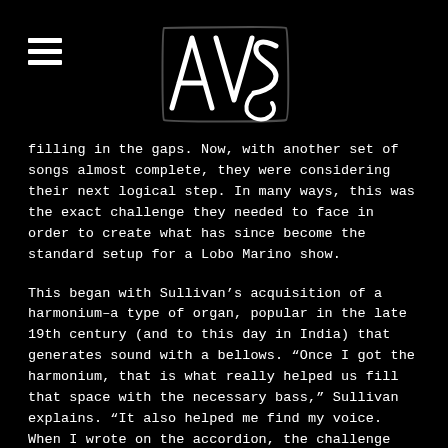[Figure (logo): AVS stylized logo in white outline on black background, with decorative lettering]
filling in the gaps. Now, with another set of songs almost complete, they were considering their next logical step. In many ways, this was the exact challenge they needed to face in order to create what has since become the standard setup for a Lobo Marino show.
This began with Sullivan’s acquisition of a harmonium–a type of organ, popular in the late 19th century (and to this day in India) that generates sound with a bellows. “Once I got the harmonium, that is what really helped us fill that space with the necessary bass,” Sullivan explains. “It also helped me find my voice. When I wrote on the accordion, the challenge was that it was higher than I was comfortable singing with. On the harmonium, the lower register comfortably suited my voice.”